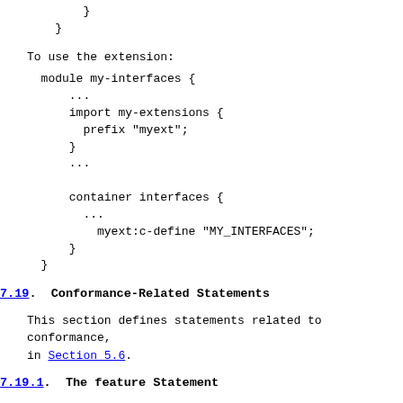}
    }
To use the extension:
module my-interfaces {
      ...
      import my-extensions {
        prefix "myext";
      }
      ...

      container interfaces {
        ...
          myext:c-define "MY_INTERFACES";
      }
  }
7.19.  Conformance-Related Statements
This section defines statements related to conformance,
in Section 5.6.
7.19.1.  The feature Statement
The "feature" statement is used to define a mechanism b
portions of the schema are marked as conditional.  A fe
defined that can later be referenced using the "if-feat
(see Section 7.19.2).  Schema nodes tagged with an "if-
statement are ignored by the device unless the device s